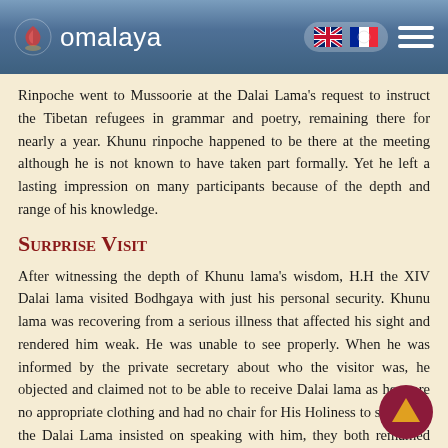omalaya
Rinpoche went to Mussoorie at the Dalai Lama's request to instruct the Tibetan refugees in grammar and poetry, remaining there for nearly a year. Khunu rinpoche happened to be there at the meeting although he is not known to have taken part formally. Yet he left a lasting impression on many participants because of the depth and range of his knowledge.
Surprise Visit
After witnessing the depth of Khunu lama's wisdom, H.H the XIV Dalai lama visited Bodhgaya with just his personal security. Khunu lama was recovering from a serious illness that affected his sight and rendered him weak. He was unable to see properly. When he was informed by the private secretary about who the visitor was, he objected and claimed not to be able to receive Dalai lama as he wore no appropriate clothing and had no chair for His Holiness to sit on. As the Dalai Lama insisted on speaking with him, they both remained standing and had a talk.
Transmission of Bodhicaryavatar
His Holiness the Dalai lama visited Bodhgaya again and